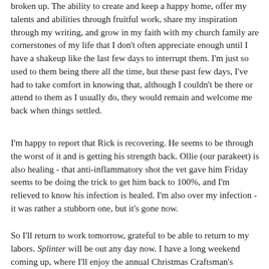broken up. The ability to create and keep a happy home, offer my talents and abilities through fruitful work, share my inspiration through my writing, and grow in my faith with my church family are cornerstones of my life that I don't often appreciate enough until I have a shakeup like the last few days to interrupt them. I'm just so used to them being there all the time, but these past few days, I've had to take comfort in knowing that, although I couldn't be there or attend to them as I usually do, they would remain and welcome me back when things settled.
I'm happy to report that Rick is recovering. He seems to be through the worst of it and is getting his strength back. Ollie (our parakeet) is also healing - that anti-inflammatory shot the vet gave him Friday seems to be doing the trick to get him back to 100%, and I'm relieved to know his infection is healed. I'm also over my infection - it was rather a stubborn one, but it's gone now.
So I'll return to work tomorrow, grateful to be able to return to my labors. Splinter will be out any day now. I have a long weekend coming up, where I'll enjoy the annual Christmas Craftsman's Classic Craft Show with Mom on Friday, then a long weekend for Veteran's Day.